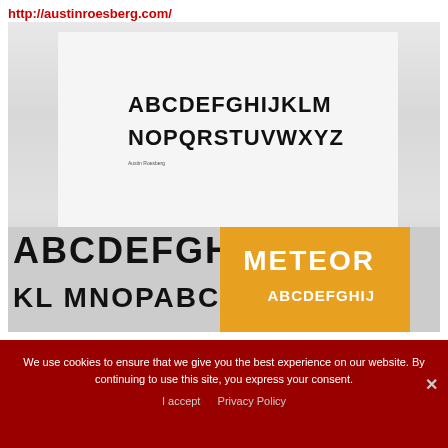http://austinroesberg.com/
[Figure (photo): Photo of printed typography specimens showing a custom alphabet typeface in black on white/grey background, and an orange box with 'METEOR' text. The alphabet is displayed twice: once in a smaller size showing the full alphabet ABCDEFGHIJKLM NOPQRSTUVWXYZ, and once larger in the foreground showing ABCDEFGHIJ KL MNOPABC and an orange card labelled METEOR ABCDEFGHIJ.]
We use cookies to ensure that we give you the best experience on our website. By continuing to use this site, you express your consent.
I accept   Privacy Policy